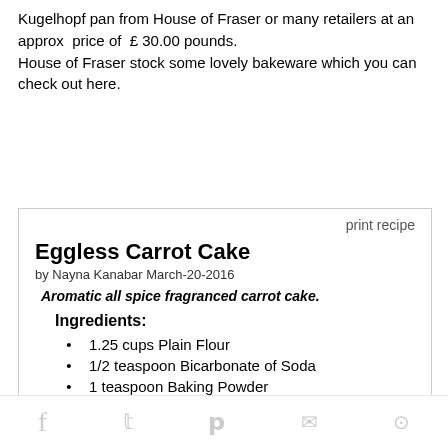Kugelhopf pan from House of Fraser or many retailers at an approx price of £ 30.00 pounds.
House of Fraser stock some lovely bakeware which you can check out here.
print recipe
Eggless Carrot Cake
by Nayna Kanabar March-20-2016
Aromatic all spice fragranced carrot cake.
Ingredients:
1.25 cups Plain Flour
1/2 teaspoon Bicarbonate of Soda
1 teaspoon Baking Powder